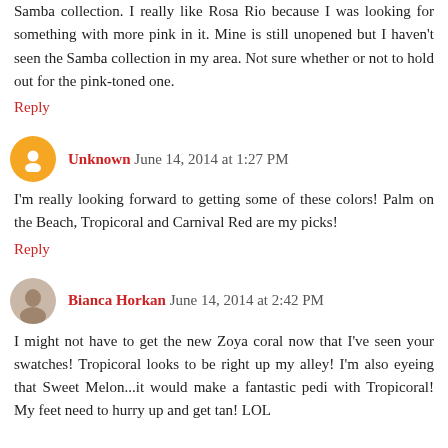Samba collection. I really like Rosa Rio because I was looking for something with more pink in it. Mine is still unopened but I haven't seen the Samba collection in my area. Not sure whether or not to hold out for the pink-toned one.
Reply
Unknown June 14, 2014 at 1:27 PM
I'm really looking forward to getting some of these colors! Palm on the Beach, Tropicoral and Carnival Red are my picks!
Reply
Bianca Horkan June 14, 2014 at 2:42 PM
I might not have to get the new Zoya coral now that I've seen your swatches! Tropicoral looks to be right up my alley! I'm also eyeing that Sweet Melon...it would make a fantastic pedi with Tropicoral! My feet need to hurry up and get tan! LOL